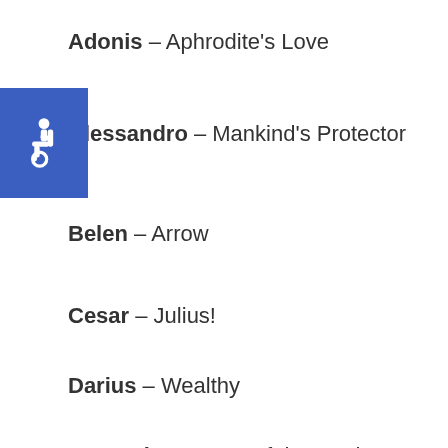Adonis – Aphrodite's Love
[Figure (illustration): Blue square accessibility icon with white wheelchair symbol]
Alessandro – Mankind's Protector
Belen – Arrow
Cesar – Julius!
Darius – Wealthy
Demetrius – Love of the Earth
Deo – God-Like